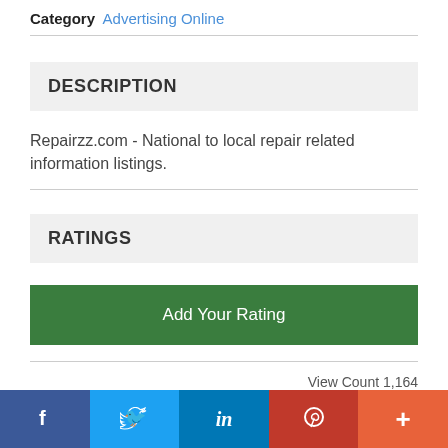Category Advertising Online
DESCRIPTION
Repairzz.com - National to local repair related information listings.
RATINGS
Add Your Rating
View Count 1,164
f  [Twitter bird]  in  P  +